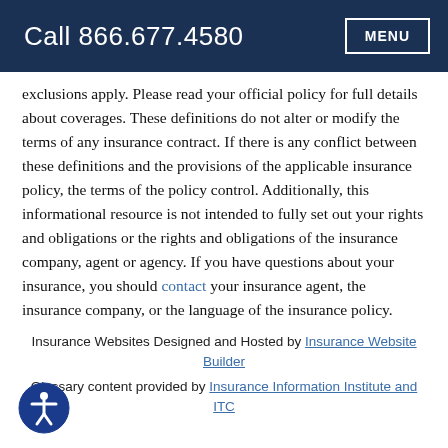Call 866.677.4580  MENU
exclusions apply. Please read your official policy for full details about coverages. These definitions do not alter or modify the terms of any insurance contract. If there is any conflict between these definitions and the provisions of the applicable insurance policy, the terms of the policy control. Additionally, this informational resource is not intended to fully set out your rights and obligations or the rights and obligations of the insurance company, agent or agency. If you have questions about your insurance, you should contact your insurance agent, the insurance company, or the language of the insurance policy.
Insurance Websites Designed and Hosted by Insurance Website Builder
Glossary content provided by Insurance Information Institute and ITC